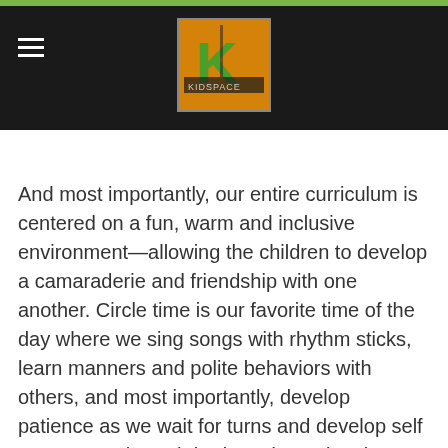futures; our classroom philosophies are streamlined with Maria Montessori's belief that children are primarily a social people. Therefore we exercise teaching respect, love and empathy in all that we do.
And most importantly, our entire curriculum is centered on a fun, warm and inclusive environment—allowing the children to develop a camaraderie and friendship with one another. Circle time is our favorite time of the day where we sing songs with rhythm sticks, learn manners and polite behaviors with others, and most importantly, develop patience as we wait for turns and develop self awareness through body and emotional control activities.
As always, we thank you for your continued support and look forward to keeping you updated